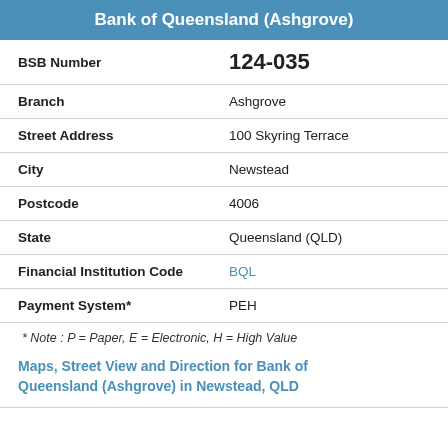Bank of Queensland (Ashgrove)
| Field | Value |
| --- | --- |
| BSB Number | 124-035 |
| Branch | Ashgrove |
| Street Address | 100 Skyring Terrace |
| City | Newstead |
| Postcode | 4006 |
| State | Queensland (QLD) |
| Financial Institution Code | BQL |
| Payment System* | PEH |
* Note : P = Paper, E = Electronic, H = High Value
Maps, Street View and Direction for Bank of Queensland (Ashgrove) in Newstead, QLD